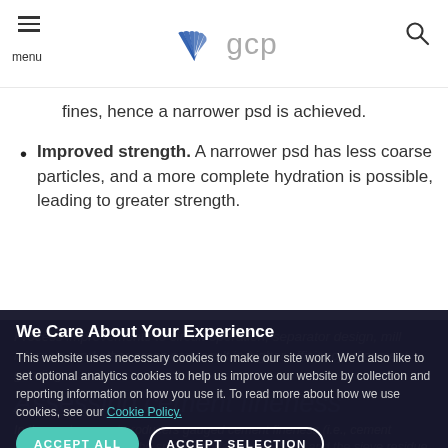GCP - menu
fines, hence a narrower psd is achieved.
Improved strength. A narrower psd has less coarse particles, and a more complete hydration is possible, leading to greater strength.
Process improvements to circuit operation, separator design, mill internals, and other areas can result in higher efficiency of cement grinding.
Assessing cement fineness
In the past, cement producers gauged cement fineness (i.e., cement quality) by evaluating the specific surface area (SSA or Blaine) and the sieve residue at various sizes. However, many producers now use particle size analysis
We Care About Your Experience
This website uses necessary cookies to make our site work. We'd also like to set optional analytics cookies to help us improve our website by collection and reporting information on how you use it. To read more about how we use cookies, see our Cookie Policy.
ACCEPT ALL | ACCEPT SELECTION
NECESSARY COOKIES